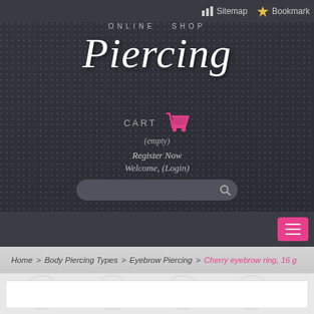Sitemap  Bookmark
ONLINE SHOP
Piercing
CART (empty)
Register Now
Welcome, (Login)
Home > Body Piercing Types > Eyebrow Piercing > Cherry eyebrow ring, 16 g